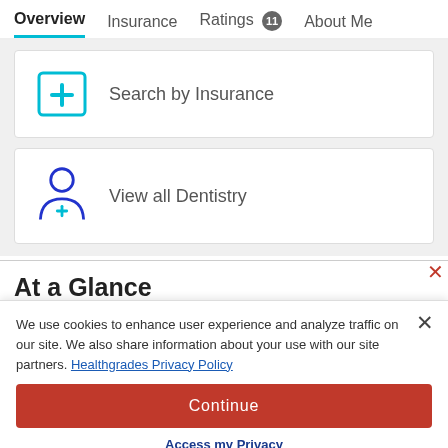Overview | Insurance | Ratings 11 | About Me
[Figure (illustration): Icon of a medical document with a plus sign inside a square border, in teal/blue color]
Search by Insurance
[Figure (illustration): Icon of a person with a medical cross below, representing a dentist or doctor, in blue color]
View all Dentistry
At a Glance
We use cookies to enhance user experience and analyze traffic on our site. We also share information about your use with our site partners. Healthgrades Privacy Policy
Continue
Access my Privacy Preferences